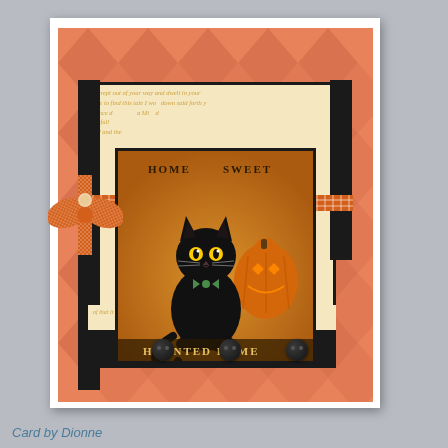[Figure (photo): Halloween handmade greeting card featuring a black cat sitting in front of a jack-o-lantern with text 'HOME SWEET HAUNTED HOME', decorated with orange gingham ribbon bow, argyle orange patterned background, cream aged paper with script text, black decorative strips, three black buttons at the bottom, on a white card base with gray background]
Card by Dionne